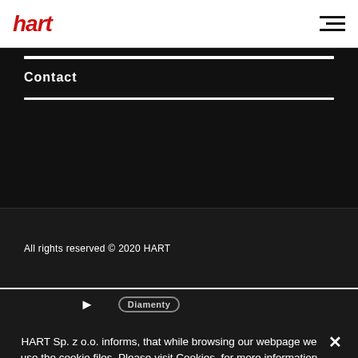hart
Contact
All rights reserved © 2020 HART
[Figure (logo): Arrow icon and Diamenty badge]
HART Sp. z o.o. informs, that while browsing our webpage we use the cookie files. Please visit Cookies, for more information on how to control your cookie settings and browser settings.